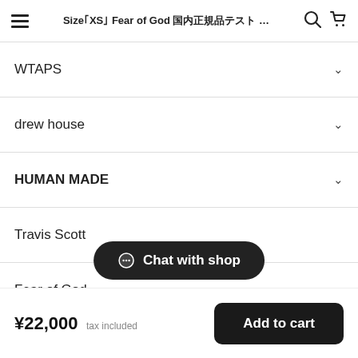Size XS Fear of God ...
WTAPS
drew house
HUMAN MADE
Travis Scott
Fear of God
KAWS
TOKYO IND...
Chat with shop
¥22,000 tax included  Add to cart